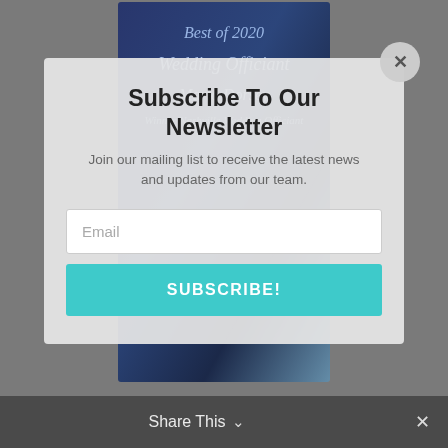[Figure (screenshot): Background showing a blurred/overlaid book cover with 'Best of 2020 Wedding Officiant Mario Dorsey Winner Nashville Wedding Officiant' text on a dark blue gradient background, overlaid with a modal popup]
Subscribe To Our Newsletter
Join our mailing list to receive the latest news and updates from our team.
Email
SUBSCRIBE!
Share This ✓ ×